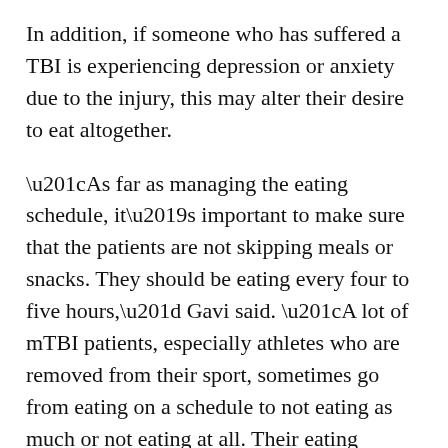In addition, if someone who has suffered a TBI is experiencing depression or anxiety due to the injury, this may alter their desire to eat altogether.
“As far as managing the eating schedule, it’s important to make sure that the patients are not skipping meals or snacks. They should be eating every four to five hours,” Gavi said. “A lot of mTBI patients, especially athletes who are removed from their sport, sometimes go from eating on a schedule to not eating as much or not eating at all. Their eating schedule is thrown off, so I help them get back to recognizing their cues on when it’s time to eat.”
Gavi said finding the right dietary fit for patients requires trial and error, but research continues on how to better support people recovering from a TBI.